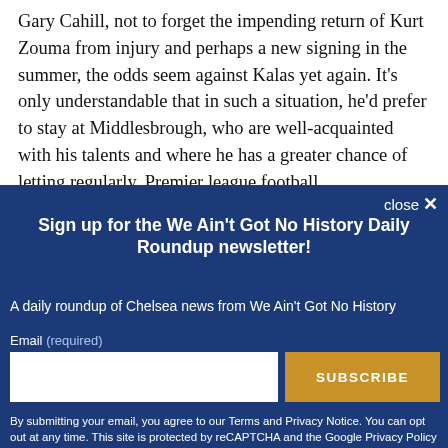Gary Cahill, not to forget the impending return of Kurt Zouma from injury and perhaps a new signing in the summer, the odds seem against Kalas yet again. It's only understandable that in such a situation, he'd prefer to stay at Middlesbrough, who are well-acquainted with his talents and where he has a greater chance of playing regularly. Premier league football...
close ✕
Sign up for the We Ain't Got No History Daily Roundup newsletter!
A daily roundup of Chelsea news from We Ain't Got No History
Email (required)
SUBSCRIBE
By submitting your email, you agree to our Terms and Privacy Notice. You can opt out at any time. This site is protected by reCAPTCHA and the Google Privacy Policy and Terms of Service apply.